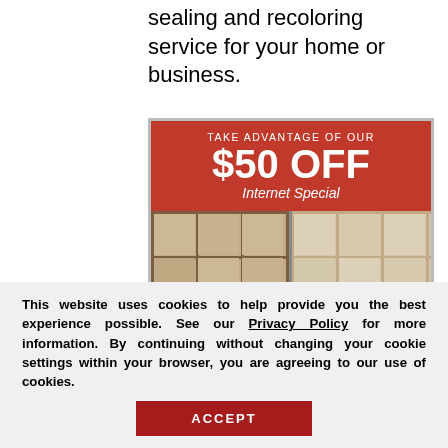sealing and recoloring service for your home or business.
[Figure (infographic): Promotional banner: 'TAKE ADVANTAGE OF OUR $50 OFF Internet Special' with before/after tile cleaning photos, Before and After labels, and a 'Request a Free' popup with close button.]
This website uses cookies to help provide you the best experience possible. See our Privacy Policy for more information. By continuing without changing your cookie settings within your browser, you are agreeing to our use of cookies.
ACCEPT